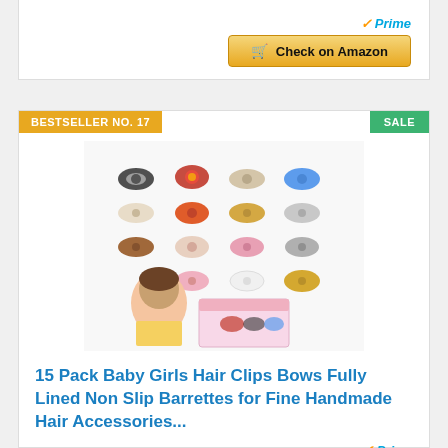[Figure (other): Check on Amazon button with Prime badge at top of page (partially visible card)]
BESTSELLER NO. 17
SALE
[Figure (photo): Product image showing 15 pack baby girls hair clips bows in various colors and patterns, arranged in a grid with a young child wearing hair clips and a pink gift box]
15 Pack Baby Girls Hair Clips Bows Fully Lined Non Slip Barrettes for Fine Handmade Hair Accessories...
[Figure (logo): Amazon Prime logo]
Check on Amazon